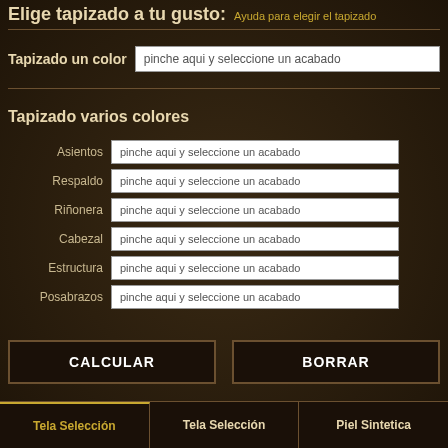Elige tapizado a tu gusto: Ayuda para elegir el tapizado
Tapizado un color
pinche aqui y seleccione un acabado
Tapizado varios colores
Asientos — pinche aqui y seleccione un acabado
Respaldo — pinche aqui y seleccione un acabado
Riñonera — pinche aqui y seleccione un acabado
Cabezal — pinche aqui y seleccione un acabado
Estructura — pinche aqui y seleccione un acabado
Posabrazos — pinche aqui y seleccione un acabado
CALCULAR
BORRAR
Tela Selección | Tela Selección | Piel Sintetica